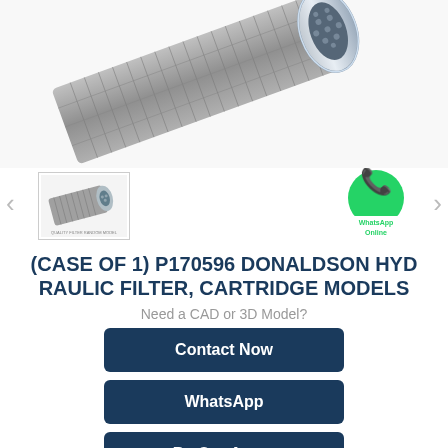[Figure (photo): Close-up photo of a cylindrical hydraulic filter cartridge (P170596 Donaldson) showing metallic mesh exterior and flanged end with perforated cap. Silver/chrome finish.]
[Figure (photo): Small thumbnail image of the same hydraulic filter cartridge shown from the side.]
[Figure (logo): WhatsApp green circle icon with phone handset, with 'WhatsApp Online' text overlay.]
(CASE OF 1) P170596 DONALDSON HYDRAULIC FILTER, CARTRIDGE MODELS
Need a CAD or 3D Model?
Contact Now
WhatsApp
Be Our Agent